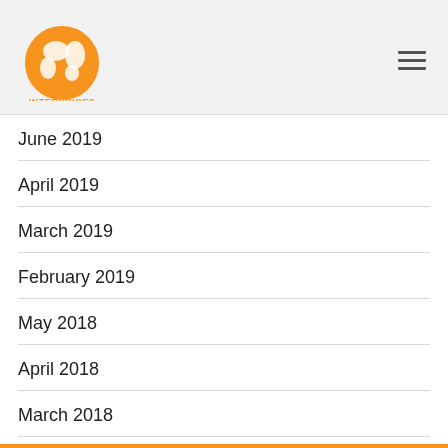INTERVOICES
June 2019
April 2019
March 2019
February 2019
May 2018
April 2018
March 2018
February 2018
October 2017